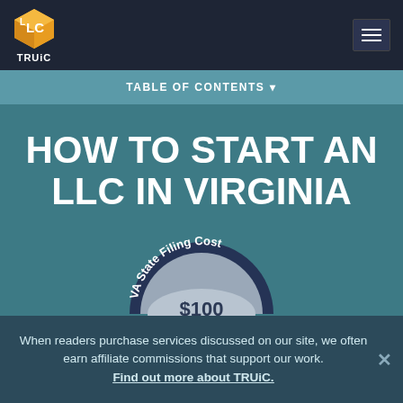[Figure (logo): TRUiC orange cube logo with LLC text, white TRUiC text below, on dark navy navigation bar with hamburger menu icon on right]
TABLE OF CONTENTS ▾
HOW TO START AN LLC IN VIRGINIA
[Figure (infographic): Semi-circular badge/seal reading 'VA State Filing Cost' around the arc, with '$100' displayed in the center on a grey background, dark navy border]
When readers purchase services discussed on our site, we often earn affiliate commissions that support our work. Find out more about TRUiC.